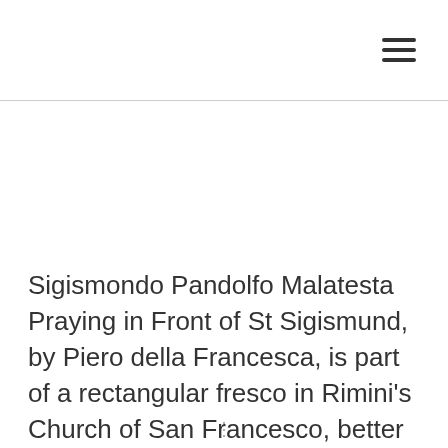☰
Sigismondo Pandolfo Malatesta Praying in Front of St Sigismund, by Piero della Francesca, is part of a rectangular fresco in Rimini's Church of San Francesco, better